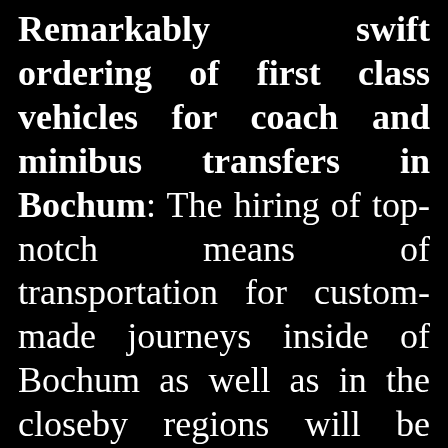Remarkably swift ordering of first class vehicles for coach and minibus transfers in Bochum: The hiring of top-notch means of transportation for custom-made journeys inside of Bochum as well as in the closeby regions will be totally uncomplicated if you have the intention to commit the effectuation of your desired ground transfers to our competent staff. Depending on the size of your travel group, we have either cars, sedans and limousines, or minivans, microbuses and minibuses, or pristine buses and